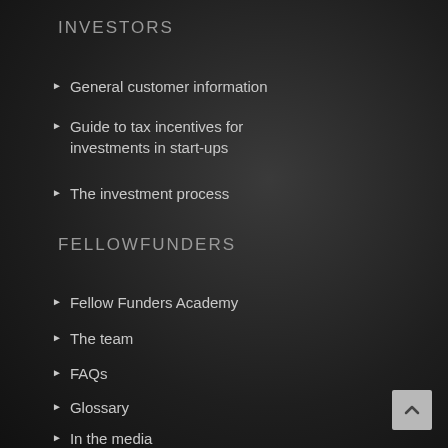INVESTORS
General customer information
Guide to tax incentives for investments in start-ups
The investment process
FELLOWFUNDERS
Fellow Funders Academy
The team
FAQs
Glossary
In the media
Blog